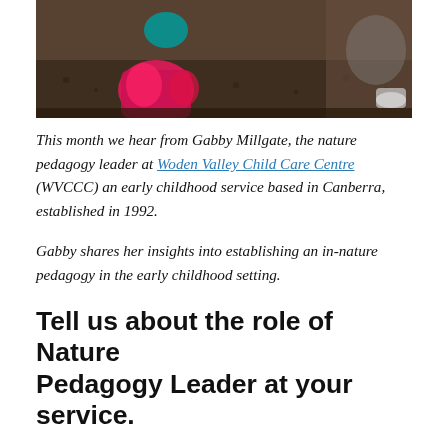[Figure (photo): Children playing outdoors in a nature-based setting, one wearing a bright pink/red outfit, digging or playing in dark mulch/soil area with another child visible.]
This month we hear from Gabby Millgate, the nature pedagogy leader at Woden Valley Child Care Centre (WVCCC) an early childhood service based in Canberra, established in 1992.
Gabby shares her insights into establishing an in-nature pedagogy in the early childhood setting.
Tell us about the role of Nature Pedagogy Leader at your service.
The Nature Pedagogy Leader develops the art of teaching